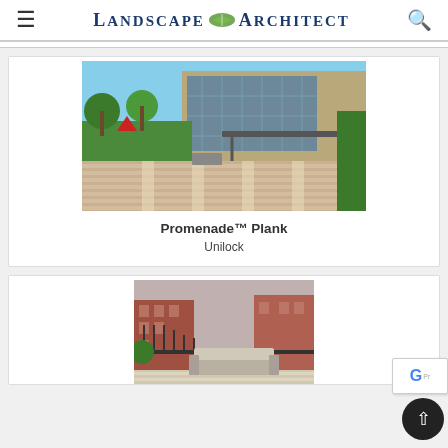Landscape Architect
[Figure (photo): Urban plaza with decorative plank paving, trees, landscaped beds, and a modern commercial building with glass facade and pergola canopy.]
Promenade™ Plank
Unilock
[Figure (photo): Rooftop terrace with light wood-look plank decking, outdoor sofa with white cushions, iron railing, overlooking urban brick buildings.]